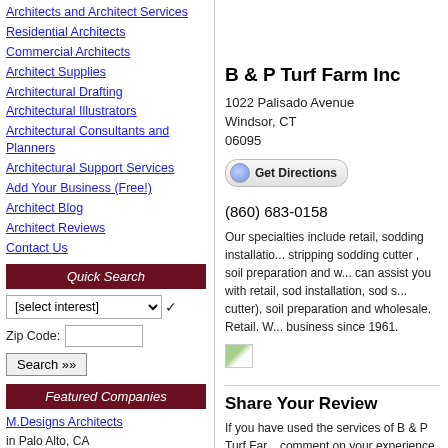Architects and Architect Services
Residential Architects
Commercial Architects
Architect Supplies
Architectural Drafting
Architectural Illustrators
Architectural Consultants and Planners
Architectural Support Services
Add Your Business (Free!)
Architect Blog
Architect Reviews
Contact Us
Quick Search
Featured Companies
M.Designs Architects in Palo Alto, CA
Andrew M Fethes Architectural Associates PA in Oradell, NJ
B & P Turf Farm Inc
1022 Palisado Avenue
Windsor, CT
06095
(860) 683-0158
Our specialties include retail, sodding installation, stripping sodding cutter , soil preparation and w... can assist you with retail, sod installation, sod s... cutter), soil preparation and wholesale. Retail. W... business since 1961.
Share Your Review
If you have used the services of B & P Turf Farm... comment on your experience.